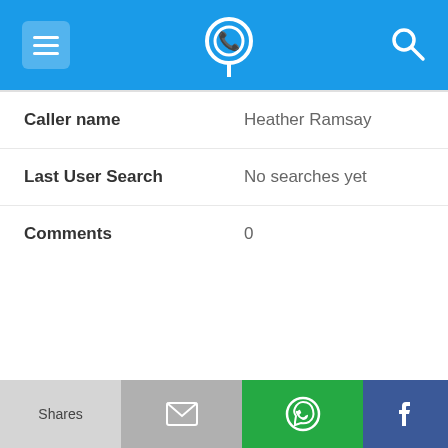[Figure (screenshot): Mobile app top navigation bar with hamburger menu icon on left, phone-pin logo in center, and search icon on right, all on blue background]
| Caller name | Heather Ramsay |
| Last User Search | No searches yet |
| Comments | 0 |
703-578-0032
| Alternate Form | 7035780032 |
| Caller name | B. A Tone |
Shares | (mail) | (WhatsApp) | (Facebook)